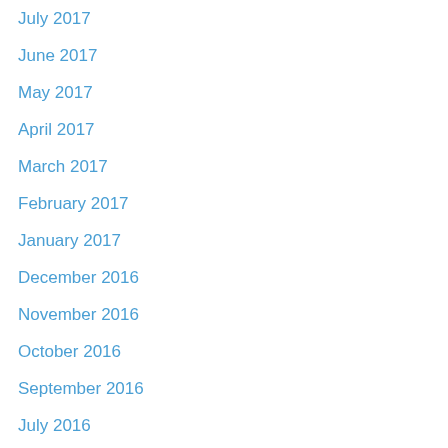July 2017
June 2017
May 2017
April 2017
March 2017
February 2017
January 2017
December 2016
November 2016
October 2016
September 2016
July 2016
June 2016
May 2016
March 2016
February 2016
January 2016
November 2015
October 2015
September 2015